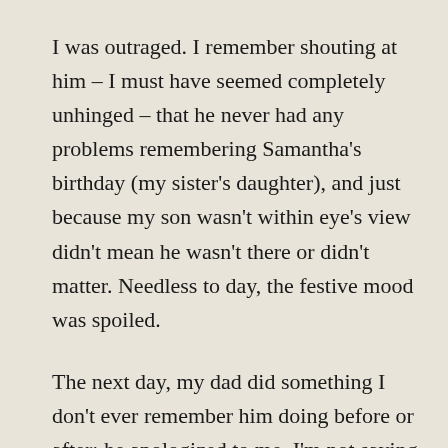I was outraged. I remember shouting at him – I must have seemed completely unhinged – that he never had any problems remembering Samantha's birthday (my sister's daughter), and just because my son wasn't within eye's view didn't mean he wasn't there or didn't matter. Needless to day, the festive mood was spoiled.
The next day, my dad did something I don't ever remember him doing before or after: he apologized to me. I'm not saying that he never apologized in my lifetime, just that I don't remember any of the other ones. This one was a really big deal. And as his way of making amends, he gave me a greeting card he'd made on his Macintosh computer, one page folded in quarters, with one of those clunky, pixelated fonts. Happy